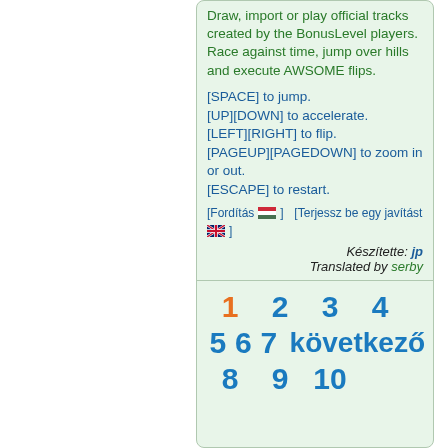Draw, import or play official tracks created by the BonusLevel players. Race against time, jump over hills and execute AWSOME flips.
[SPACE] to jump.
[UP][DOWN] to accelerate.
[LEFT][RIGHT] to flip.
[PAGEUP][PAGEDOWN] to zoom in or out.
[ESCAPE] to restart.
[Fordítás] [Terjessz be egy javítást]
Készítette: jp
Translated by serby
1 2 3 4
5 6 7 következő
8 9 10